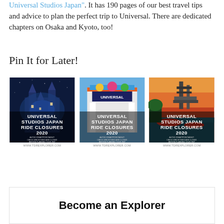Universal Studios Japan". It has 190 pages of our best travel tips and advice to plan the perfect trip to Universal. There are dedicated chapters on Osaka and Kyoto, too!
Pin It for Later!
[Figure (photo): Three Pinterest-style images each titled 'UNIVERSAL STUDIOS JAPAN RIDE CLOSURES 2020' with subtitle 'Avoid disappointment. Check which rides are closed before planning your trip.' and URL www.tdrexplorer.com. Left image shows Hogwarts castle at night, center image shows colorful themed entrance, right image shows outdoor ride with industrial structure.]
Become an Explorer